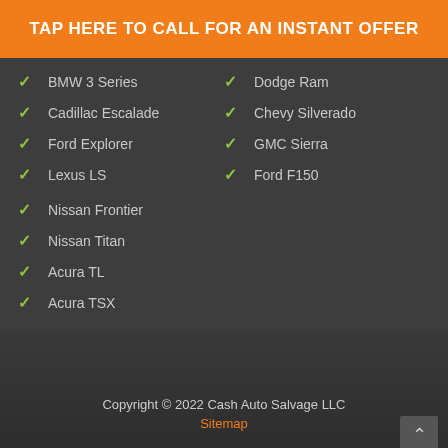TAP HERE TO CALL FOR AN INSTANT OFFER
BMW 3 Series
Dodge Ram
Cadillac Escalade
Chevy Silverado
Ford Explorer
GMC Sierra
Lexus LS
Ford F150
Nissan Frontier
Nissan Titan
Acura TL
Acura TSX
Copyright © 2022 Cash Auto Salvage LLC
Sitemap